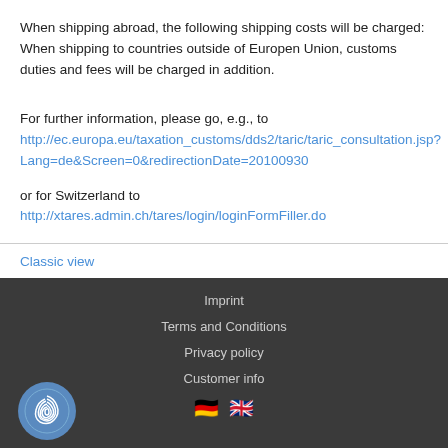When shipping abroad, the following shipping costs will be charged: When shipping to countries outside of Europen Union, customs duties and fees will be charged in addition.
For further information, please go, e.g., to
http://ec.europa.eu/taxation_customs/dds2/taric/taric_consultation.jsp?Lang=de&Screen=0&redirectionDate=20100930
or for Switzerland to
http://xtares.admin.ch/tares/login/loginFormFiller.do
Classic view
Imprint
Terms and Conditions
Privacy policy
Customer info